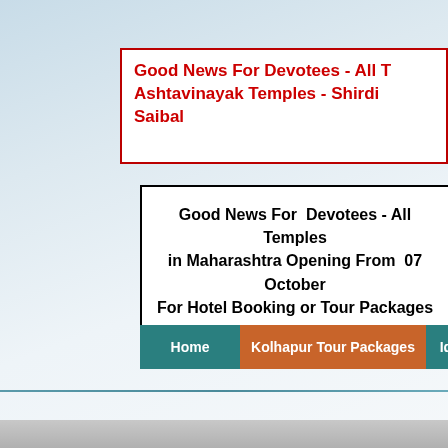Good News For Devotees - All T Ashtavinayak Temples - Shirdi Saibal
Good News For Devotees - All Temples in Maharashtra Opening From 07 October For Hotel Booking or Tour Packages WhatsApp 09224444455 / 09892002006
Home
Kolhapur Tour Packages
Idols